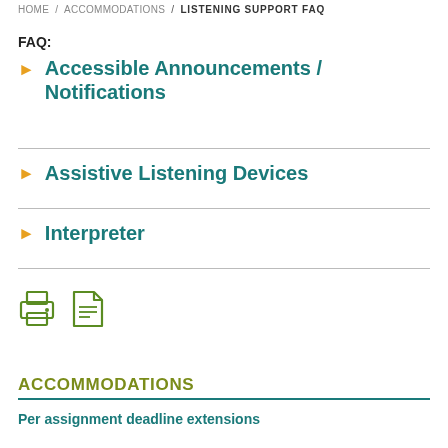HOME / ACCOMMODATIONS / LISTENING SUPPORT FAQ
FAQ:
Accessible Announcements / Notifications
Assistive Listening Devices
Interpreter
[Figure (illustration): Print icon and PDF/document icon in olive green]
ACCOMMODATIONS
Per assignment deadline extensions